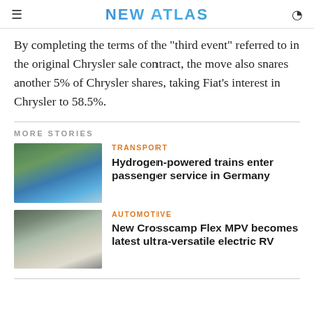NEW ATLAS
By completing the terms of the "third event" referred to in the original Chrysler sale contract, the move also snares another 5% of Chrysler shares, taking Fiat's interest in Chrysler to 58.5%.
MORE STORIES
[Figure (photo): Blue hydrogen-powered train on tracks outdoors]
TRANSPORT
Hydrogen-powered trains enter passenger service in Germany
[Figure (photo): White electric MPV/RV with roof panel open, parked outdoors]
AUTOMOTIVE
New Crosscamp Flex MPV becomes latest ultra-versatile electric RV